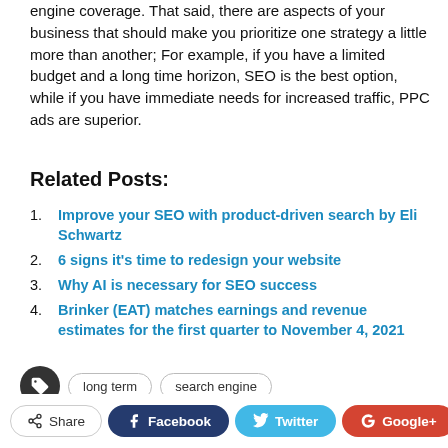engine coverage. That said, there are aspects of your business that should make you prioritize one strategy a little more than another; For example, if you have a limited budget and a long time horizon, SEO is the best option, while if you have immediate needs for increased traffic, PPC ads are superior.
Related Posts:
Improve your SEO with product-driven search by Eli Schwartz
6 signs it's time to redesign your website
Why AI is necessary for SEO success
Brinker (EAT) matches earnings and revenue estimates for the first quarter to November 4, 2021
Tags: long term, search engine
Share | Facebook | Twitter | Google+ | + | ↑